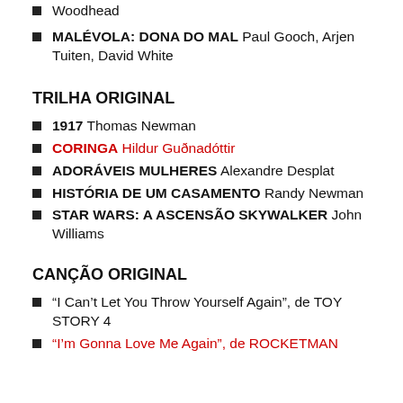Woodhead
MALÉVOLA: DONA DO MAL Paul Gooch, Arjen Tuiten, David White
TRILHA ORIGINAL
1917 Thomas Newman
CORINGA Hildur Guðnadóttir
ADORÁVEIS MULHERES Alexandre Desplat
HISTÓRIA DE UM CASAMENTO Randy Newman
STAR WARS: A ASCENSÃO SKYWALKER John Williams
CANÇÃO ORIGINAL
“I Can’t Let You Throw Yourself Again”, de TOY STORY 4
“I’m Gonna Love Me Again”, de ROCKETMAN